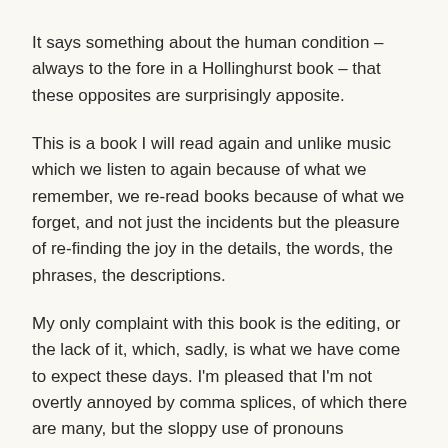It says something about the human condition – always to the fore in a Hollinghurst book – that these opposites are surprisingly apposite.
This is a book I will read again and unlike music which we listen to again because of what we remember, we re-read books because of what we forget, and not just the incidents but the pleasure of re-finding the joy in the details, the words, the phrases, the descriptions.
My only complaint with this book is the editing, or the lack of it, which, sadly, is what we have come to expect these days. I'm pleased that I'm not overtly annoyed by comma splices, of which there are many, but the sloppy use of pronouns especially in scenes with many characters of the same sex make re-reading for clarity an annoying necessity. There is even a sentence on page 181 that makes no sense at all but is due to, I suspect, a cut and paste not being checked for coherence.